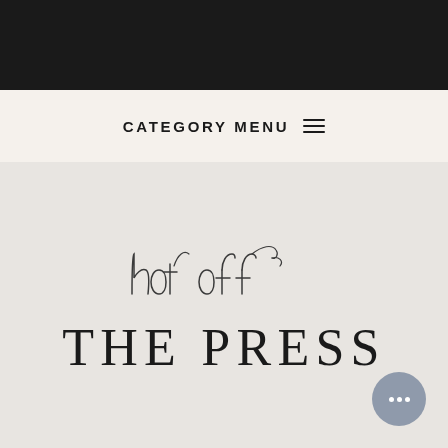CATEGORY MENU ☰
hot off THE PRESS
[Figure (illustration): Chat bubble icon with three dots, gray circular button in bottom right corner]